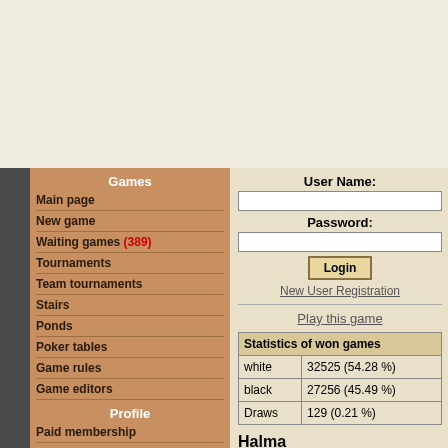Games
Main page
New game
Waiting games (389)
Tournaments
Team tournaments
Stairs
Ponds
Poker tables
Game rules
Game editors
Profile
Paid membership
My profile
Photo albums
Message box
Events
Friends
Blocked users
Settings
Statistics
User Name:
Password:
Login
New User Registration
Play this game
| Statistics of won games |  |
| --- | --- |
| white | 32525 (54.28 %) |
| black | 27256 (45.49 %) |
| Draws | 129 (0.21 %) |
Halma
Date and
31. August 2
14:08:50 (cl
Friends
none
Favourite boards
none
Fellowship
none
Tip of th
(hide)
If you want to
game with a
opponent of
level, you ca
required BKR